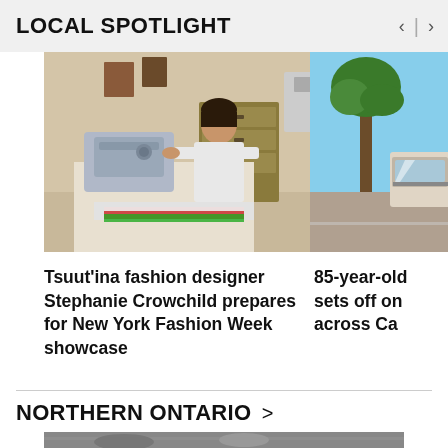LOCAL SPOTLIGHT
[Figure (photo): Woman sitting at a sewing machine at a white table, working with colorful fabric (green, red, white), in a home studio setting with dresser and other items in background]
Tsuut'ina fashion designer Stephanie Crowchild prepares for New York Fashion Week showcase
[Figure (photo): Partially visible photo of a scene outdoors, showing a car and tree, cropped on right edge]
85-year-old sets off on across Ca
NORTHERN ONTARIO >
[Figure (photo): Bottom portion of a photo partially visible, cropped at page bottom]